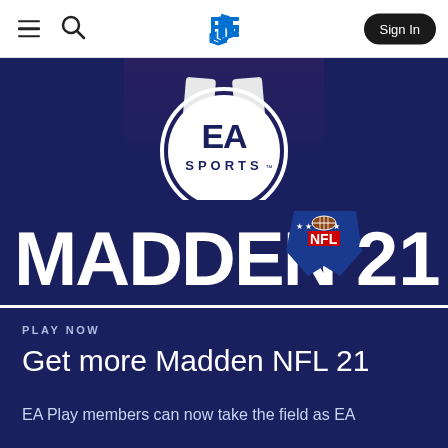PlayStation Store navigation header with hamburger menu, search icon, PlayStation logo, and Sign In button
[Figure (screenshot): PlayStation Store webpage showing Madden NFL 21 product page. Dark navy blue background with EA Sports logo circle, Madden NFL 21 game logo in large white text with NFL shield logo in red/blue/white, and a football player visible at the top of the hero image.]
PLAY NOW
Get more Madden NFL 21
EA Play members can now take the field as EA